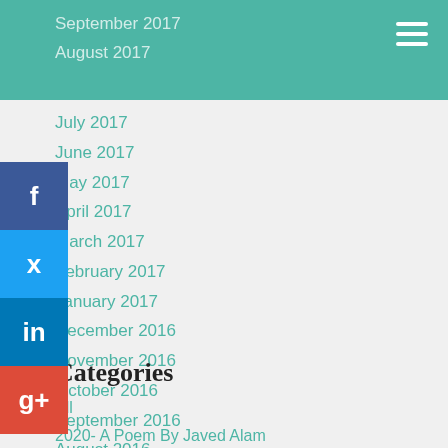September 2017
August 2017
July 2017
June 2017
May 2017
April 2017
March 2017
February 2017
January 2017
December 2016
November 2016
October 2016
September 2016
August 2016
July 2016
June 2016
Categories
All
2020- A Poem By Javed Alam